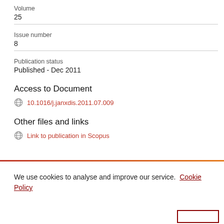Volume
25
Issue number
8
Publication status
Published - Dec 2011
Access to Document
10.1016/j.janxdis.2011.07.009
Other files and links
Link to publication in Scopus
We use cookies to analyse and improve our service. Cookie Policy